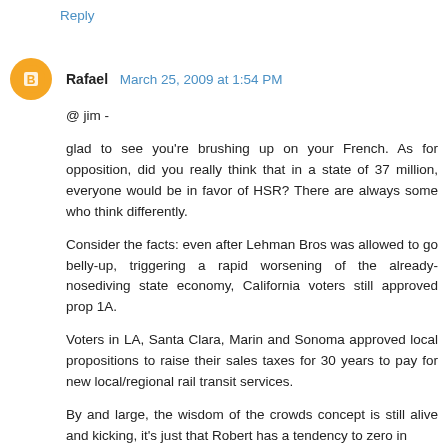Reply
Rafael  March 25, 2009 at 1:54 PM
@ jim -
glad to see you're brushing up on your French. As for opposition, did you really think that in a state of 37 million, everyone would be in favor of HSR? There are always some who think differently.
Consider the facts: even after Lehman Bros was allowed to go belly-up, triggering a rapid worsening of the already-nosediving state economy, California voters still approved prop 1A.
Voters in LA, Santa Clara, Marin and Sonoma approved local propositions to raise their sales taxes for 30 years to pay for new local/regional rail transit services.
By and large, the wisdom of the crowds concept is still alive and kicking, it's just that Robert has a tendency to zero in